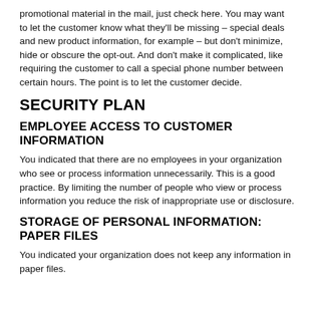promotional material in the mail, just check here. You may want to let the customer know what they'll be missing – special deals and new product information, for example – but don't minimize, hide or obscure the opt-out. And don't make it complicated, like requiring the customer to call a special phone number between certain hours. The point is to let the customer decide.
SECURITY PLAN
EMPLOYEE ACCESS TO CUSTOMER INFORMATION
You indicated that there are no employees in your organization who see or process information unnecessarily. This is a good practice. By limiting the number of people who view or process information you reduce the risk of inappropriate use or disclosure.
STORAGE OF PERSONAL INFORMATION: PAPER FILES
You indicated your organization does not keep any information in paper files.